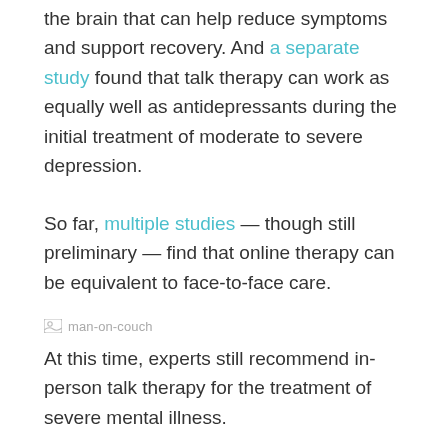the brain that can help reduce symptoms and support recovery. And a separate study found that talk therapy can work as equally well as antidepressants during the initial treatment of moderate to severe depression.
So far, multiple studies — though still preliminary — find that online therapy can be equivalent to face-to-face care.
[Figure (other): Small image icon with label 'man-on-couch']
At this time, experts still recommend in-person talk therapy for the treatment of severe mental illness.